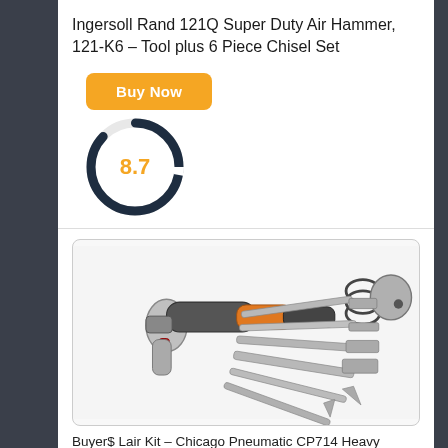Ingersoll Rand 121Q Super Duty Air Hammer, 121-K6 – Tool plus 6 Piece Chisel Set
[Figure (other): Orange 'Buy Now' button]
[Figure (donut-chart): Donut chart showing score 8.7 in orange with dark navy ring, mostly filled]
[Figure (photo): Photo of Chicago Pneumatic air hammer tool with chisel attachments on white background]
Buyer$ Lair Kit – Chicago Pneumatic CP714 Heavy